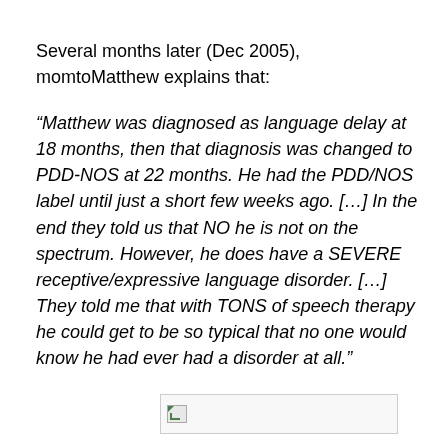Several months later (Dec 2005), momtoMatthew explains that:
“Matthew was diagnosed as language delay at 18 months, then that diagnosis was changed to PDD-NOS at 22 months. He had the PDD/NOS label until just a short few weeks ago. […] In the end they told us that NO he is not on the spectrum. However, he does have a SEVERE receptive/expressive language disorder. […] They told me that with TONS of speech therapy he could get to be so typical that no one would know he had ever had a disorder at all.”
[Figure (other): Broken image placeholder with small green icon]